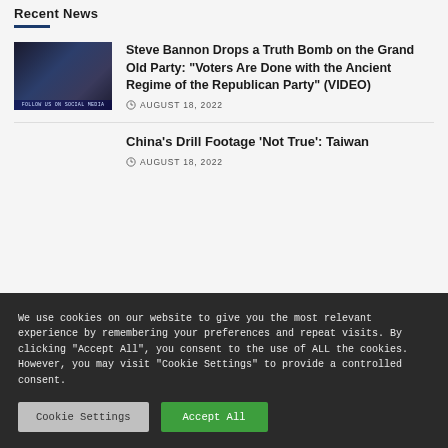Recent News
[Figure (photo): Thumbnail image of a person in front of a red background with text overlay]
Steve Bannon Drops a Truth Bomb on the Grand Old Party: “Voters Are Done with the Ancient Regime of the Republican Party” (VIDEO)
AUGUST 18, 2022
China’s Drill Footage ‘Not True’: Taiwan
AUGUST 18, 2022
We use cookies on our website to give you the most relevant experience by remembering your preferences and repeat visits. By clicking “Accept All”, you consent to the use of ALL the cookies. However, you may visit "Cookie Settings" to provide a controlled consent.
Cookie Settings
Accept All